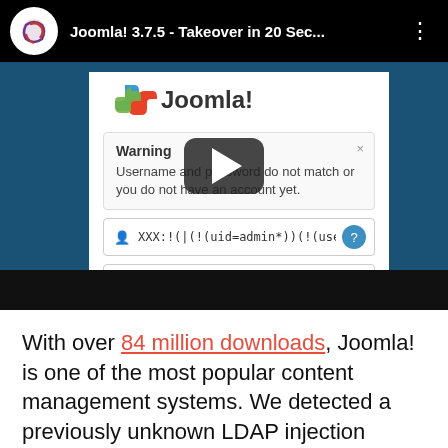[Figure (screenshot): YouTube video thumbnail/player showing Joomla! 3.7.5 Takeover in 20 Sec... with a Joomla warning dialog and LDAP injection credentials visible. Play button overlay in center.]
With over 84 million downloads, Joomla! is one of the most popular content management systems. We detected a previously unknown LDAP injection